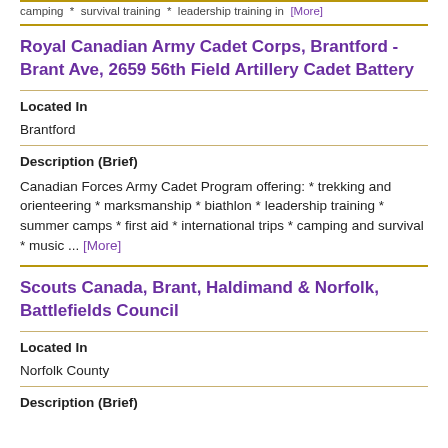trekking and survival training * leadership training in [More]
Royal Canadian Army Cadet Corps, Brantford - Brant Ave, 2659 56th Field Artillery Cadet Battery
Located In
Brantford
Description (Brief)
Canadian Forces Army Cadet Program offering: * trekking and orienteering * marksmanship * biathlon * leadership training * summer camps * first aid * international trips * camping and survival * music ... [More]
Scouts Canada, Brant, Haldimand & Norfolk, Battlefields Council
Located In
Norfolk County
Description (Brief)